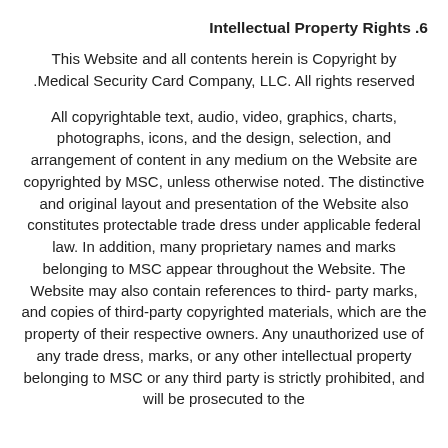6. Intellectual Property Rights
This Website and all contents herein is Copyright by Medical Security Card Company, LLC. All rights reserved.
All copyrightable text, audio, video, graphics, charts, photographs, icons, and the design, selection, and arrangement of content in any medium on the Website are copyrighted by MSC, unless otherwise noted. The distinctive and original layout and presentation of the Website also constitutes protectable trade dress under applicable federal law. In addition, many proprietary names and marks belonging to MSC appear throughout the Website. The Website may also contain references to third-party marks, and copies of third-party copyrighted materials, which are the property of their respective owners. Any unauthorized use of any trade dress, marks, or any other intellectual property belonging to MSC or any third party is strictly prohibited, and will be prosecuted to the